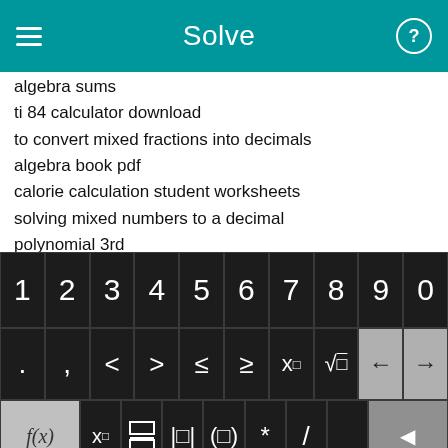Solve
algebra sums
ti 84 calculator download
to convert mixed fractions into decimals
algebra book pdf
calorie calculation student worksheets
solving mixed numbers to a decimal
polynomial 3rd
ged algebra
beginner algebra worksheets
multiplying dividing radical numbers practice
[Figure (screenshot): On-screen keyboard with numeric row (1-0), operator row (. , < > ≤ ≥ x□ √□ ← →), function row (f(x) x□ fraction |□| (□) * / backspace), and bottom row (abc ↺ x y = + − Solve!)]